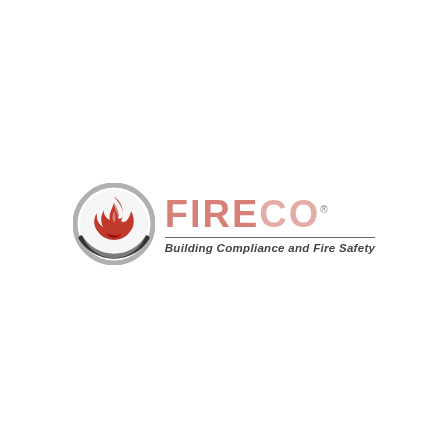[Figure (logo): FIRECO logo consisting of a circular emblem with a flame icon on the left, and the text 'FIRECO' in large red letters with registered trademark symbol, and the tagline 'Building Compliance and Fire Safety' in italic below, separated by a horizontal line.]